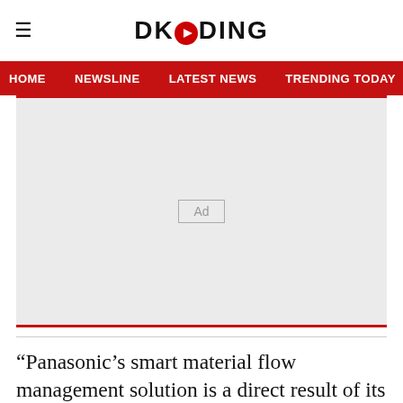DKODING
HOME   NEWSLINE   LATEST NEWS   TRENDING TODAY   ENT
[Figure (other): Advertisement placeholder box with 'Ad' label in center]
“Panasonic’s smart material flow management solution is a direct result of its strategy to address scalability challenges